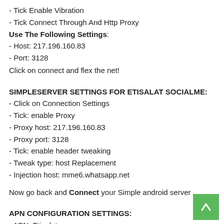- Tick Enable Vibration
- Tick Connect Through And Http Proxy
Use The Following Settings:
- Host: 217.196.160.83
- Port: 3128
Click on connect and flex the net!
SIMPLESERVER SETTINGS FOR ETISALAT SOCIALME:
- Click on Connection Settings
- Tick: enable Proxy
- Proxy host: 217.196.160.83
- Proxy port: 3128
- Tick: enable header tweaking
- Tweak type: host Replacement
- Injection host: mme6.whatsapp.net
Now go back and Connect your Simple android server
APN CONFIGURATION SETTINGS:
- APN: Etisalat
- Proxy: Blank
- Port: Blank